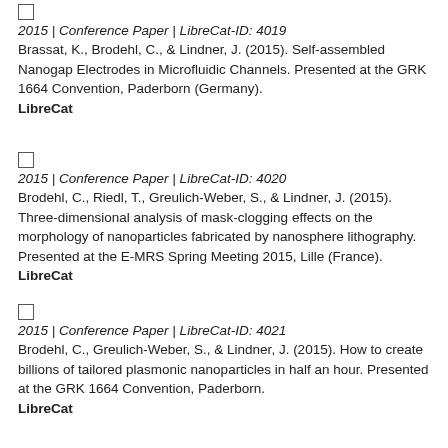2015 | Conference Paper | LibreCat-ID: 4019
Brassat, K., Brodehl, C., & Lindner, J. (2015). Self-assembled Nanogap Electrodes in Microfluidic Channels. Presented at the GRK 1664 Convention, Paderborn (Germany).
LibreCat
2015 | Conference Paper | LibreCat-ID: 4020
Brodehl, C., Riedl, T., Greulich-Weber, S., & Lindner, J. (2015). Three-dimensional analysis of mask-clogging effects on the morphology of nanoparticles fabricated by nanosphere lithography. Presented at the E-MRS Spring Meeting 2015, Lille (France).
LibreCat
2015 | Conference Paper | LibreCat-ID: 4021
Brodehl, C., Greulich-Weber, S., & Lindner, J. (2015). How to create billions of tailored plasmonic nanoparticles in half an hour. Presented at the GRK 1664 Convention, Paderborn.
LibreCat